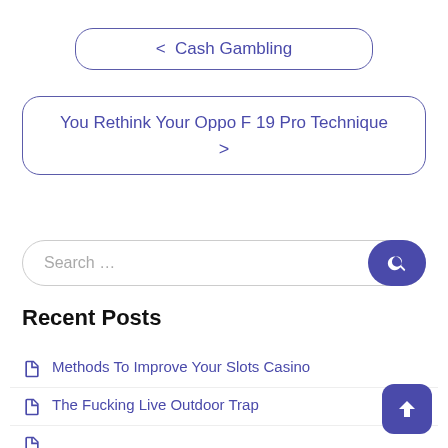< Cash Gambling
You Rethink Your Oppo F 19 Pro Technique >
Search ...
Recent Posts
Methods To Improve Your Slots Casino
The Fucking Live Outdoor Trap